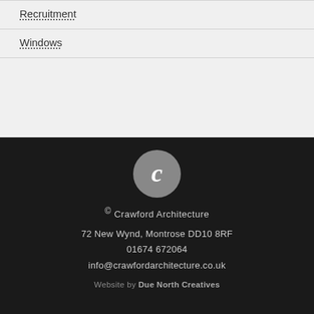Recruitment
Windows
[Figure (logo): Crawford Architecture logo: circular gray badge with white italic letter C]
© Crawford Architecture
72 New Wynd, Montrose DD10 8RF
01674 672064
info@crawfordarchitecture.co.uk
Website by Due North Creatives